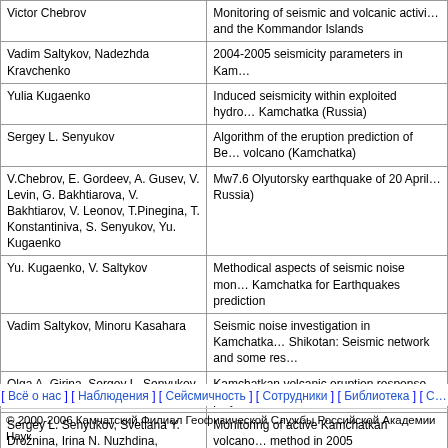| Author(s) | Title |
| --- | --- |
| Victor Chebrov | Monitoring of seismic and volcanic activity and the Kommandor Islands |
| Vadim Saltykov, Nadezhda Kravchenko | 2004-2005 seismicity parameters in Kam... |
| Yulia Kugaenko | Induced seismicity within exploited hydro... Kamchatka (Russia) |
| Sergey L. Senyukov | Algorithm of the eruption prediction of Be... volcano (Kamchatka) |
| V.Chebrov, E. Gordeev, A. Gusev, V. Levin, G. Bakhtiarova, V. Bakhtiarov, V. Leonov, T.Pinegina, T. Konstantiniva, S. Senyukov, Yu. Kugaenko | Mw7.6 Olyutorsky earthquake of 20 April... Russia) |
| Yu. Kugaenko, V. Saltykov | Methodical aspects of seismic noise mon... Kamchatka for Earthquakes prediction |
| Vadim Saltykov, Minoru Kasahara | Seismic noise investigation in Kamchatka... Shikotan: Seismic network and some res... |
| Olga A. Girina, Sergey L. Senyukov, Christina A. Neal | Kamchatkan volcanic eruption response... project in 2004-2006 |
| Sergey L. Senyukov, Svetlana Y. Droznina, Irina N. Nuzhdina, Valentina T. Garbuzova, Tatiana Y. Kozhevnikova | Monitoring of active Kamchatkan volcano... method in 2005 |
| Ushakov S. V, Muravyev Ya. D., Ovsyannikov A. A., Senyukov S. L., Dvigalo V. N., Timofeeva I. F. | Gas monitoring in 1994-2005 and recent... Avachinsky volcano |
[ Всё о нас ] [ Наблюдения ] [ Сейсмичность ] [ Сотрудники ] [ Библиотека ] [ С...
© 2000-2006 Камчатский Филиал Геофизической Службы Российской Академии Наук
Web design by Vladimir V. IVANOFF and Evgeniy A. Pantyuhin
Последнее обновление: 10/07/2011 02:06:39